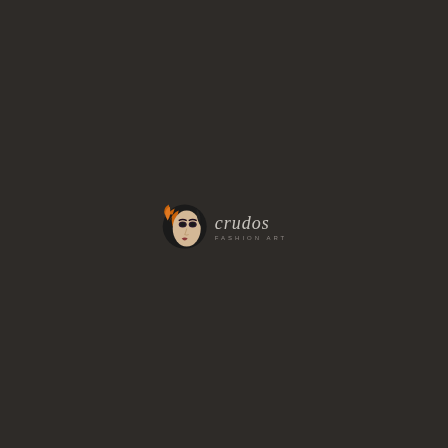[Figure (logo): Crudos fashion brand logo: a stylized illustrated female face with dramatic makeup and orange/flame hair on the left, next to the brand name 'crudos' in italic script font with 'FASHION ART' tagline beneath in small spaced capitals, all on a dark charcoal background.]